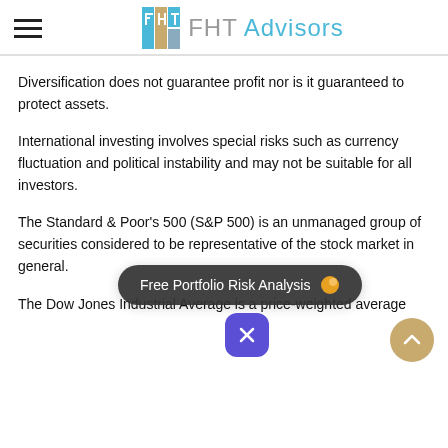FHT Advisors
Diversification does not guarantee profit nor is it guaranteed to protect assets.
International investing involves special risks such as currency fluctuation and political instability and may not be suitable for all investors.
The Standard & Poor's 500 (S&P 500) is an unmanaged group of securities considered to be representative of the stock market in general.
The Dow Jones Industrial Average is a price-weighted average